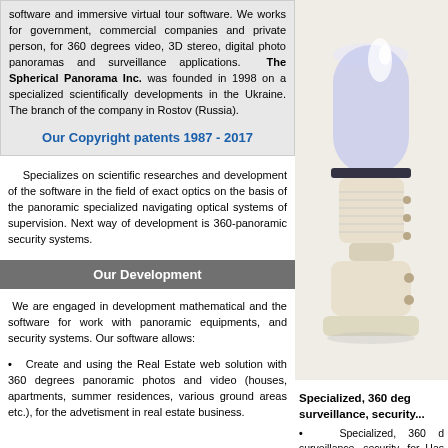software and immersive virtual tour software. We works for government, commercial companies and private person, for 360 degrees video, 3D stereo, digital photo panoramas and surveillance applications. The Spherical Panorama Inc. was founded in 1998 on a specialized scientifically developments in the Ukraine. The branch of the company in Rostov (Russia).
Our Copyright patents 1987 - 2017
[Figure (photo): Specialized panoramic optical device / camera lens assembly, cylindrical glass dome on a white/cream colored mounting base with screws, photographed against white background]
Specializes on scientific researches and development of the software in the field of exact optics on the basis of the panoramic specialized navigating optical systems of supervision. Next way of development is 360-panoramic security systems.
Our Development
We are engaged in development mathematical and the software for work with panoramic equipments, and security systems. Our software allows:
Create and using the Real Estate web solution with 360 degrees panoramic photos and video (houses, apartments, summer residences, various ground areas etc.), for the advetisment in real estate business.
Specialized, 360 deg surveillance, security...
Specialized, 360 d surveillance, security, for Has no dead zone development. Special nig intellectual property